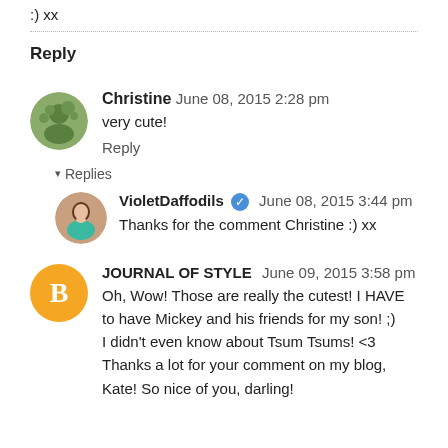:) xx
Reply
Christine   June 08, 2015 2:28 pm
very cute!
Reply
▾ Replies
VioletDaffodils ✓   June 08, 2015 3:44 pm
Thanks for the comment Christine :) xx
JOURNAL OF STYLE   June 09, 2015 3:58 pm
Oh, Wow! Those are really the cutest! I HAVE to have Mickey and his friends for my son! ;)
I didn't even know about Tsum Tsums! <3
Thanks a lot for your comment on my blog, Kate! So nice of you, darling!